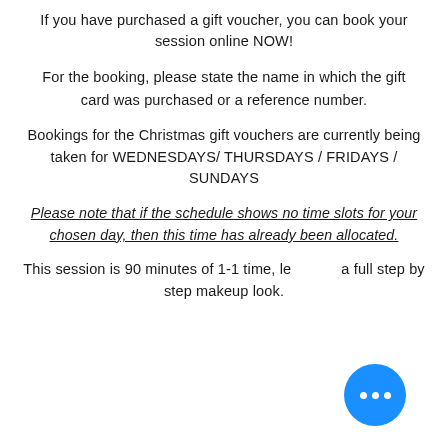If you have purchased a gift voucher, you can book your session online NOW!
For the booking, please state the name in which the gift card was purchased or a reference number.
Bookings for the Christmas gift vouchers are currently being taken for WEDNESDAYS/ THURSDAYS / FRIDAYS / SUNDAYS
Please note that if the schedule shows no time slots for your chosen day, then this time has already been allocated.
This session is 90 minutes of 1-1 time, le... a full step by step makeup look.